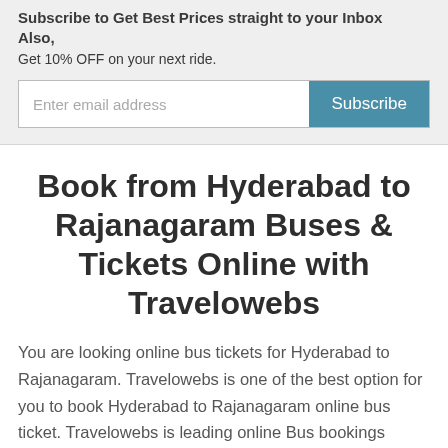Subscribe to Get Best Prices straight to your Inbox
Also,
Get 10% OFF on your next ride.
Book from Hyderabad to Rajanagaram Buses & Tickets Online with Travelowebs
You are looking online bus tickets for Hyderabad to Rajanagaram. Travelowebs is one of the best option for you to book Hyderabad to Rajanagaram online bus ticket. Travelowebs is leading online Bus bookings platform in India. We are committed to provide you the cheapest fare from Hyderabad to Rajanagaram. Get the best online bus booking offers for Hyderabad to Rajanagaram online bus reservation